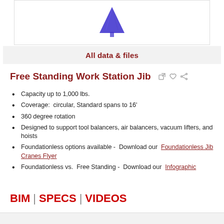[Figure (illustration): Blue jib crane product illustration shown at top of page]
All data & files
Free Standing Work Station Jib
Capacity up to 1,000 lbs.
Coverage:  circular, Standard spans to 16'
360 degree rotation
Designed to support tool balancers, air balancers, vacuum lifters, and hoists
Foundationless options available -  Download our Foundationless Jib Cranes Flyer
Foundationless vs.  Free Standing -  Download our Infographic
BIM | SPECS | VIDEOS